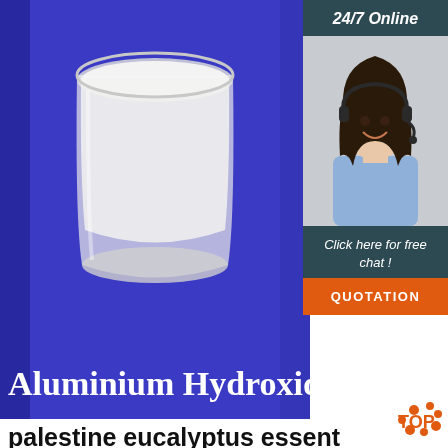[Figure (photo): Product photo showing a glass jar with white creamy substance on a blue/purple background with text 'Aluminium Hydroxide' on the surface]
24/7 Online
[Figure (photo): Customer service agent woman wearing headset and smiling]
Click here for free chat !
QUOTATION
palestine eucalyptus essential purifies mind wholesaler
Eucalyptus Aroma Essential Oils . Eucalyptus Essential Oils E101. $ 11.94 $ 9.95. Free Sample. Used in aromatherapy, the inspiring scent of Eucalyptus Essential Oil is known to relieve mental exhaustion by promoting blood circulation, keeping the